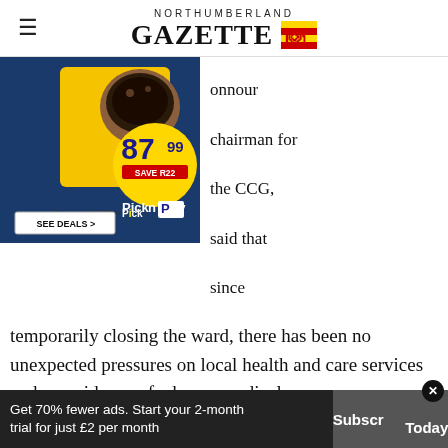NORTHUMBERLAND GAZETTE
[Figure (photo): Pick n Pay advertisement showing coffee product priced at 87.99 with SAVE R22 offer and SEE DEALS button]
onnour chairman for the CCG, said that since temporarily closing the ward, there has been no unexpected pressures on local health and care services and no evidence of adverse medical consequences on individual patients.
[Figure (infographic): In-store shopping advertisement banner with loop icon and navigation arrow]
The CCG says that within three months of
Get 70% fewer ads. Start your 2-month trial for just £2 per month
Subscribe Today